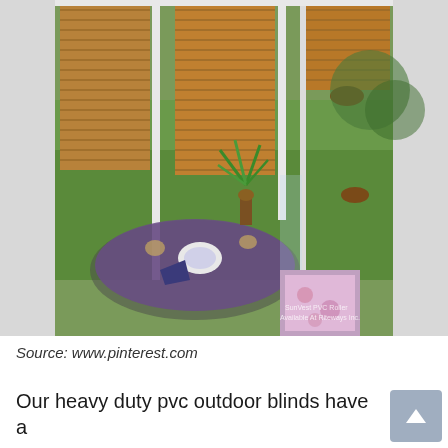[Figure (photo): A sunroom or enclosed patio with bamboo/wood roll-up blinds on glass panel walls. A dining table set with plates, glasses, and purple napkins is visible, along with patio chairs with floral cushions. A green tropical plant sits on the table. Through the glass panels, a green lawn and trees are visible outside. Small watermark text reads 'SunVest PVC Roller / Available At Riteway Inc.' in the bottom right corner of the photo.]
Source: www.pinterest.com
Our heavy duty pvc outdoor blinds have a